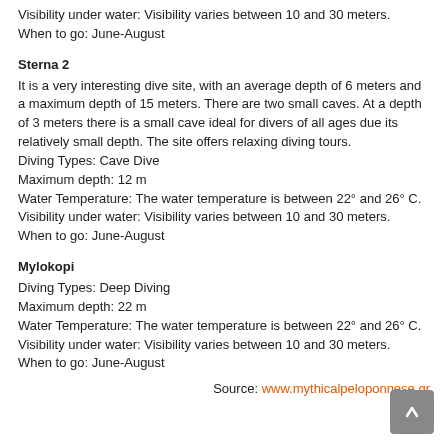Visibility under water: Visibility varies between 10 and 30 meters.
When to go: June-August
Sterna 2
It is a very interesting dive site, with an average depth of 6 meters and a maximum depth of 15 meters. There are two small caves. At a depth of 3 meters there is a small cave ideal for divers of all ages due its relatively small depth. The site offers relaxing diving tours.
Diving Types: Cave Dive
Maximum depth: 12 m
Water Temperature: The water temperature is between 22° and 26° C.
Visibility under water: Visibility varies between 10 and 30 meters.
When to go: June-August
Mylokopi
Diving Types: Deep Diving
Maximum depth: 22 m
Water Temperature: The water temperature is between 22° and 26° C.
Visibility under water: Visibility varies between 10 and 30 meters.
When to go: June-August
Source: www.mythicalpeloponnese.gr